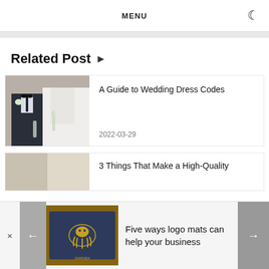MENU
Related Post ▶
[Figure (photo): Wedding photo showing groom in tuxedo with boutonniere and bride in white dress, both holding champagne flutes]
A Guide to Wedding Dress Codes
2022-03-29
[Figure (photo): Partial view of wedding-related image]
3 Things That Make a High-Quality
[Figure (photo): Logo mat with octopus design in gold on dark blue background on wooden surface]
Five ways logo mats can help your business